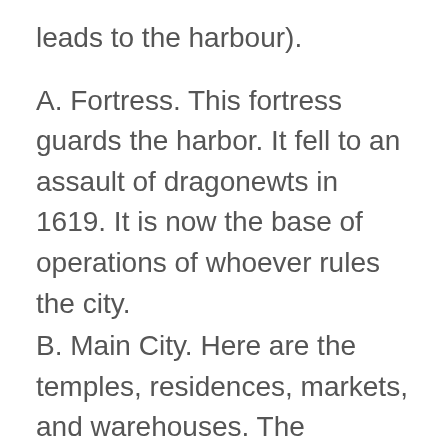leads to the harbour).
A. Fortress. This fortress guards the harbor. It fell to an assault of dragonewts in 1619. It is now the base of operations of whoever rules the city.
B. Main City. Here are the temples, residences, markets, and warehouses. The enclosed area probably has several open areas, for tanning, and other crafts, or for